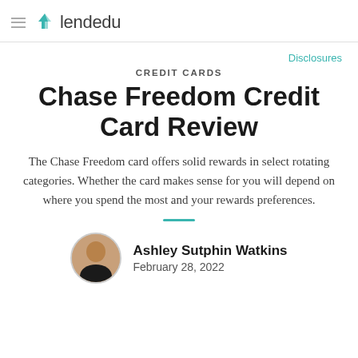lendedu
Disclosures
CREDIT CARDS
Chase Freedom Credit Card Review
The Chase Freedom card offers solid rewards in select rotating categories. Whether the card makes sense for you will depend on where you spend the most and your rewards preferences.
Ashley Sutphin Watkins
February 28, 2022